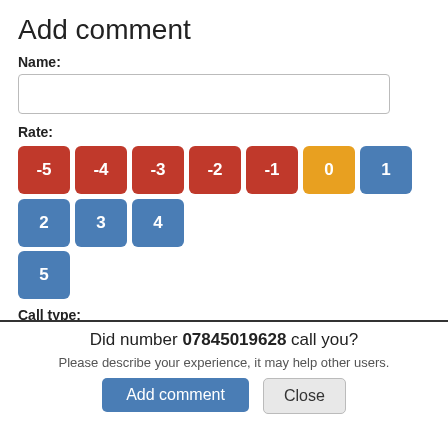Add comment
Name:
Rate:
[Figure (other): Rating buttons from -5 to 5: red buttons for -5,-4,-3,-2,-1, orange button for 0, blue buttons for 1,2,3,4,5]
Call type:
[Figure (other): Call type buttons: Unknown (orange), Scam (red), Telemarket (red), Harassment (red)]
Did number 07845019628 call you?
Please describe your experience, it may help other users.
Add comment
Close